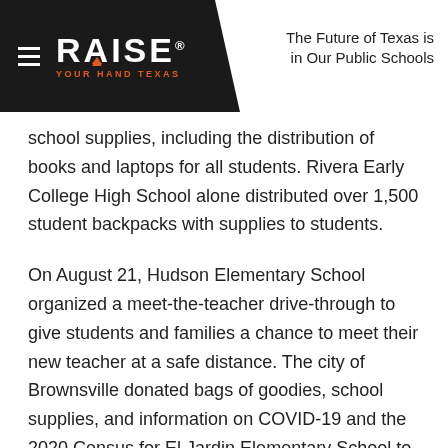RAISE YOUR HAND TEXAS — The Future of Texas is in Our Public Schools
school supplies, including the distribution of books and laptops for all students. Rivera Early College High School alone distributed over 1,500 student backpacks with supplies to students.
On August 21, Hudson Elementary School organized a meet-the-teacher drive-through to give students and families a chance to meet their new teacher at a safe distance. The city of Brownsville donated bags of goodies, school supplies, and information on COVID-19 and the 2020 Census for El Jardin Elementary School to send home with each family.